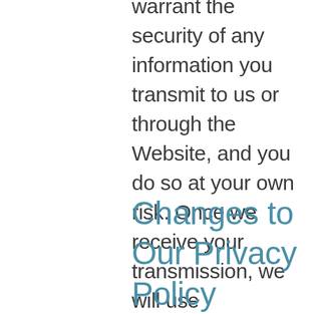warrant the security of any information you transmit to us or through the Website, and you do so at your own risk. Once we receive your transmission, we will use reasonable efforts to ensure its security on our internal systems. Depending on the nature of the inquiry, your communication may be discarded or archived. If you wish, you may contact us instead via telephone at the numbers provided throughout the Website.
Changes to Our Privacy Policy